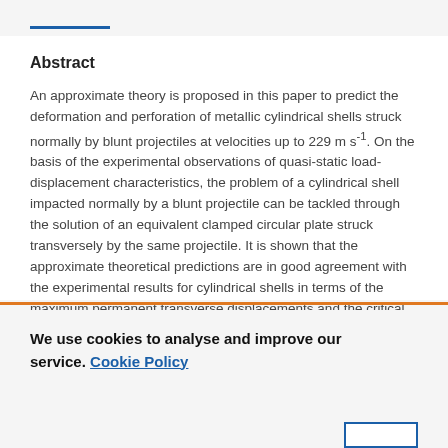Abstract
An approximate theory is proposed in this paper to predict the deformation and perforation of metallic cylindrical shells struck normally by blunt projectiles at velocities up to 229 m s⁻¹. On the basis of the experimental observations of quasi-static load-displacement characteristics, the problem of a cylindrical shell impacted normally by a blunt projectile can be tackled through the solution of an equivalent clamped circular plate struck transversely by the same projectile. It is shown that the approximate theoretical predictions are in good agreement with the experimental results for cylindrical shells in terms of the maximum permanent transverse displacements and the critical
We use cookies to analyse and improve our service. Cookie Policy